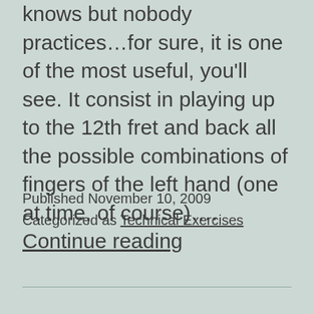knows but nobody practices…for sure, it is one of the most useful, you'll see. It consist in playing up to the 12th fret and back all the possible combinations of fingers of the left hand (one at time, of course)…. Continue reading
Published November 10, 2009
Categorized as Technical Exercises